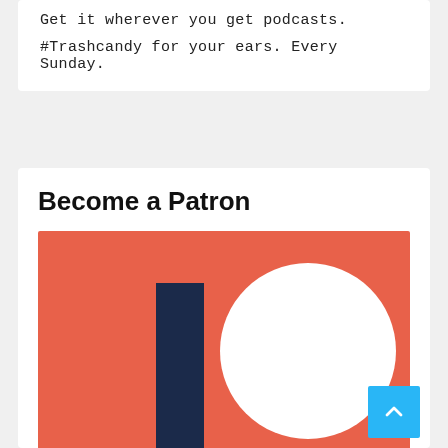Get it wherever you get podcasts.
#Trashcandy for your ears. Every Sunday.
Become a Patron
[Figure (logo): Patreon logo on coral/orange-red background: a dark navy vertical rectangle on the left and a white circle on the right, forming the Patreon 'P' logomark.]